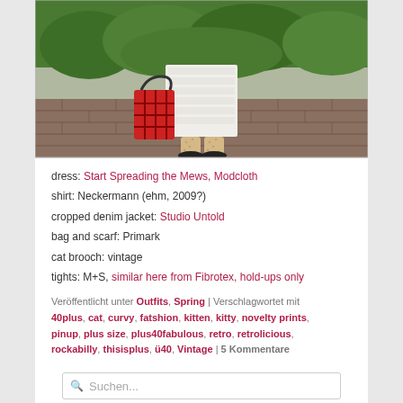[Figure (photo): Lower half of a person wearing a printed dress, dotted tights, black shoes, carrying a red plaid bag, standing on a brick path with greenery in the background]
dress: Start Spreading the Mews, Modcloth
shirt: Neckermann (ehm, 2009?)
cropped denim jacket: Studio Untold
bag and scarf: Primark
cat brooch: vintage
tights: M+S, similar here from Fibrotex, hold-ups only
Veröffentlicht unter Outfits, Spring | Verschlagwortet mit 40plus, cat, curvy, fatshion, kitten, kitty, novelty prints, pinup, plus size, plus40fabulous, retro, retrolicious, rockabilly, thisisplus, ü40, Vintage | 5 Kommentare